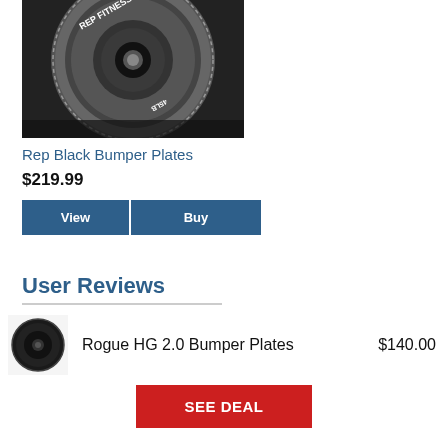[Figure (photo): Black and white photo of a Rep Fitness 45LB bumper plate weight disc, viewed from front at a slight angle, showing the circular weight with REP FITNESS and 45LB text embossed on it.]
Rep Black Bumper Plates
$219.99
View | Buy
User Reviews
[Figure (photo): Small thumbnail photo of a Rogue HG 2.0 bumper plate, black circular weight disc, viewed from front.]
Rogue HG 2.0 Bumper Plates
$140.00
SEE DEAL